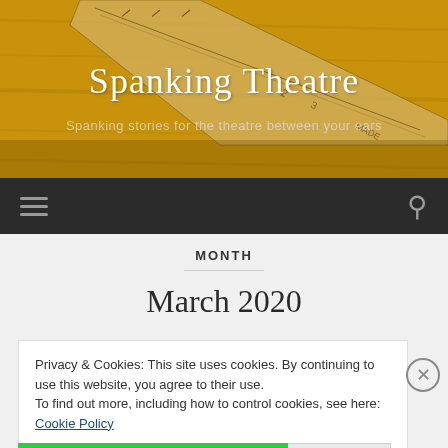[Figure (photo): Header image showing a wooden surface with a ruler/measuring tool, warm golden-brown tones]
Spanking Theatre
Spanking stories for the theatre between your ears
[Figure (other): Dark navigation bar with hamburger menu icon on left and search icon on right]
MONTH
March 2020
Privacy & Cookies: This site uses cookies. By continuing to use this website, you agree to their use.
To find out more, including how to control cookies, see here: Cookie Policy
Close and accept